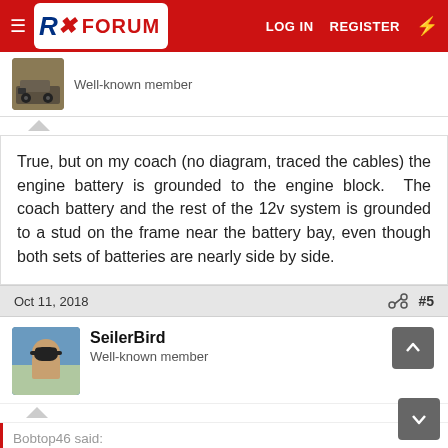RX FORUM  LOG IN  REGISTER
Well-known member
True, but on my coach (no diagram, traced the cables) the engine battery is grounded to the engine block.  The coach battery and the rest of the 12v system is grounded to a stud on the frame near the battery bay, even though both sets of batteries are nearly side by side.
Oct 11, 2018  #5
SeilerBird
Well-known member
Bobtop46 said: